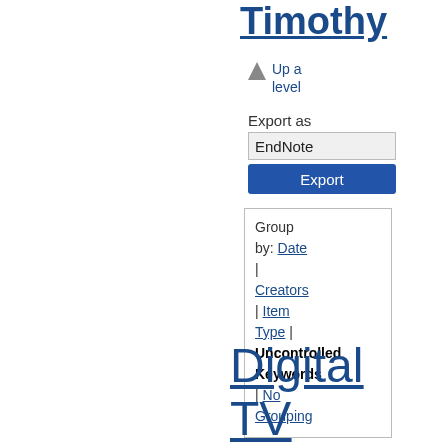Timothy
Up a level
Export as
EndNote
Export
Group by: Date | Creators | Item Type | Uncontrolled Keywords | No Grouping
Digital TV DVB-T DVB-T2